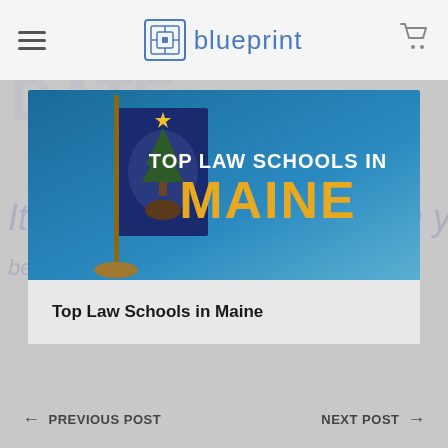blueprint
[Figure (photo): Article thumbnail image showing Maine state flag on a stand against a blue gradient background, with text overlay 'TOP LAW SCHOOLS IN MAINE' where MAINE is in large gold/yellow bold letters]
Top Law Schools in Maine
← PREVIOUS POST    NEXT POST →